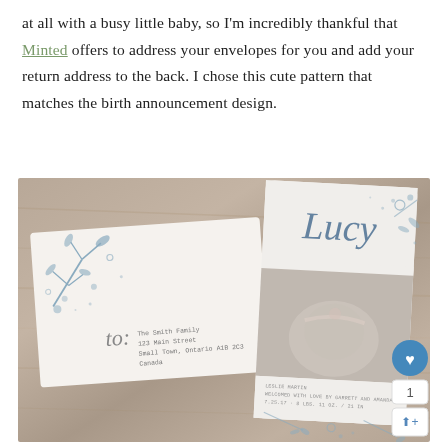at all with a busy little baby, so I'm incredibly thankful that Minted offers to address your envelopes for you and add your return address to the back. I chose this cute pattern that matches the birth announcement design.
[Figure (photo): Photo of a birth announcement card for 'Lucy' with floral blue design and a baby photo, alongside a white envelope with matching floral pattern addressed to 'The Smith Family, 123 Main Street, Small Town, Ontario A1B 2C3, Canada'. Both are laid on a wooden surface. Social sharing buttons (heart, count '1', share) visible on the right edge.]